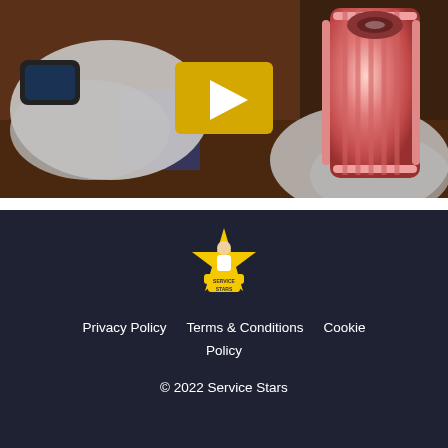[Figure (photo): Video thumbnail showing gloved hands holding a pink cylindrical ribbed gear/mold component, with a yellow play button overlay in the center]
[Figure (logo): Service Stars logo: yellow star with a character figure holding tools, with 'SERVICE STARS' text on yellow banner]
Privacy Policy   Terms & Conditions   Cookie Policy
© 2022 Service Stars